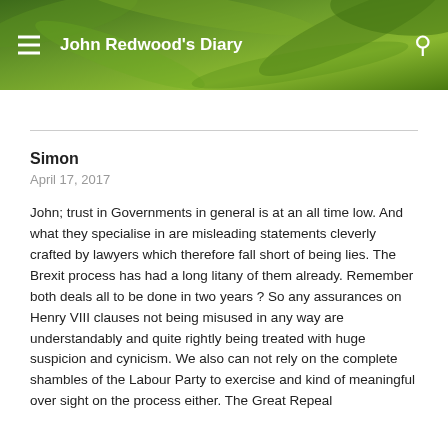John Redwood's Diary
Simon
April 17, 2017
John; trust in Governments in general is at an all time low. And what they specialise in are misleading statements cleverly crafted by lawyers which therefore fall short of being lies. The Brexit process has had a long litany of them already. Remember both deals all to be done in two years ? So any assurances on Henry VIII clauses not being misused in any way are understandably and quite rightly being treated with huge suspicion and cynicism. We also can not rely on the complete shambles of the Labour Party to exercise and kind of meaningful over sight on the process either. The Great Repeal